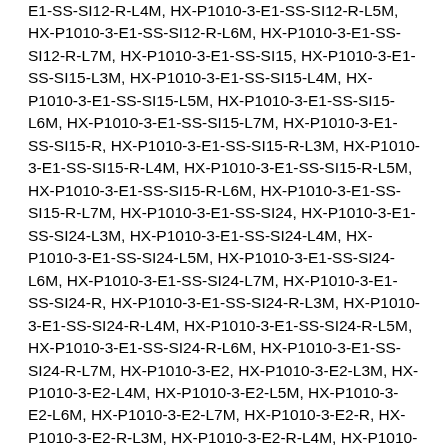E1-SS-SI12-R-L4M, HX-P1010-3-E1-SS-SI12-R-L5M, HX-P1010-3-E1-SS-SI12-R-L6M, HX-P1010-3-E1-SS-SI12-R-L7M, HX-P1010-3-E1-SS-SI15, HX-P1010-3-E1-SS-SI15-L3M, HX-P1010-3-E1-SS-SI15-L4M, HX-P1010-3-E1-SS-SI15-L5M, HX-P1010-3-E1-SS-SI15-L6M, HX-P1010-3-E1-SS-SI15-L7M, HX-P1010-3-E1-SS-SI15-R, HX-P1010-3-E1-SS-SI15-R-L3M, HX-P1010-3-E1-SS-SI15-R-L4M, HX-P1010-3-E1-SS-SI15-R-L5M, HX-P1010-3-E1-SS-SI15-R-L6M, HX-P1010-3-E1-SS-SI15-R-L7M, HX-P1010-3-E1-SS-SI24, HX-P1010-3-E1-SS-SI24-L3M, HX-P1010-3-E1-SS-SI24-L4M, HX-P1010-3-E1-SS-SI24-L5M, HX-P1010-3-E1-SS-SI24-L6M, HX-P1010-3-E1-SS-SI24-L7M, HX-P1010-3-E1-SS-SI24-R, HX-P1010-3-E1-SS-SI24-R-L3M, HX-P1010-3-E1-SS-SI24-R-L4M, HX-P1010-3-E1-SS-SI24-R-L5M, HX-P1010-3-E1-SS-SI24-R-L6M, HX-P1010-3-E1-SS-SI24-R-L7M, HX-P1010-3-E2, HX-P1010-3-E2-L3M, HX-P1010-3-E2-L4M, HX-P1010-3-E2-L5M, HX-P1010-3-E2-L6M, HX-P1010-3-E2-L7M, HX-P1010-3-E2-R, HX-P1010-3-E2-R-L3M, HX-P1010-3-E2-R-L4M, HX-P1010-3-E2-R-L5M, HX-P1010-3-E2-R-L6M, HX-P1010-3-E2-R-L7M, HX-P1010-3-E2-SI5, HX-P1010-3-E2-SI5-L3M, HX-P1010-3-E2-SI5-L4M, HX-P1010-3-E2-SI5-L5M, HX-P1010-3-E2-SI5-L6M, HX-P1010-3-E2-SI5-L7M, HX-P1010-3-E2-SI5-R, HX-P1010-3-E2-SI5-R-L3M, HX-P1010-3-E2-SI5-R-L4M, HX-P1010-3-E2-SI5-R-L5M, HX-P1010-3-E2-SI5-R-L6M, HX-P1010-3-